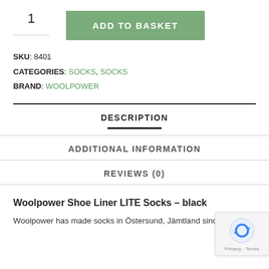1
ADD TO BASKET
SKU: 8401
CATEGORIES: SOCKS, SOCKS
BRAND: WOOLPOWER
DESCRIPTION
ADDITIONAL INFORMATION
REVIEWS (0)
Woolpower Shoe Liner LITE Socks – black
Woolpower has made socks in Östersund, Jämtland since the